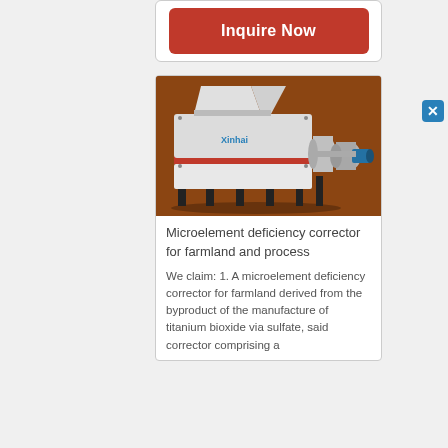[Figure (other): Red 'Inquire Now' button with rounded corners on a white card background]
[Figure (photo): Industrial Xinhai-branded machine (double-shaft shredder or mixer) on a brown/orange background — white machine body with red trim, mounted on black metal frame with motor components on the right side]
Microelement deficiency corrector for farmland and process
We claim: 1. A microelement deficiency corrector for farmland derived from the byproduct of the manufacture of titanium bioxide via sulfate, said corrector comprising a